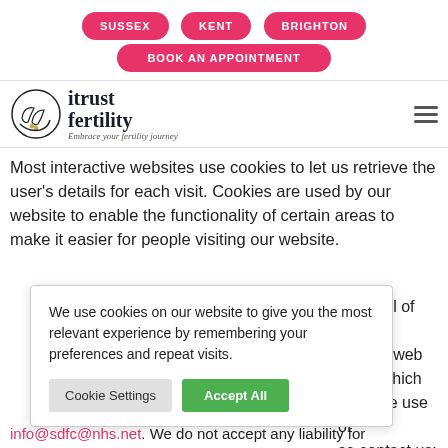[Figure (screenshot): Website navigation with three pink pill-shaped buttons: SUSSEX, KENT, BRIGHTON, and a wider BOOK AN APPOINTMENT button below]
[Figure (logo): iTrust Fertility logo with hands cradling a fertility symbol, text 'itrust fertility' and tagline 'Embrace your fertility journey']
Most interactive websites use cookies to let us retrieve the user's details for each visit. Cookies are used by our website to enable the functionality of certain areas to make it easier for people visiting our website.
[Figure (screenshot): Cookie consent popup: 'We use cookies on our website to give you the most relevant experience by remembering your preferences and repeat visits.' with Cookie Settings and Accept All buttons]
ies to all of es and plies to web ideos which cuss the use of se contact us:
info@sdfc@nhs.net. We do not accept any liability for